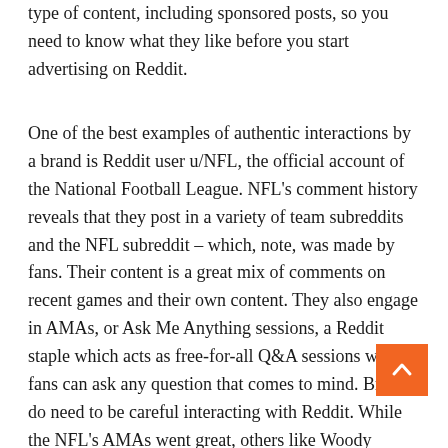type of content, including sponsored posts, so you need to know what they like before you start advertising on Reddit.
One of the best examples of authentic interactions by a brand is Reddit user u/NFL, the official account of the National Football League. NFL's comment history reveals that they post in a variety of team subreddits and the NFL subreddit – which, note, was made by fans. Their content is a great mix of comments on recent games and their own content. They also engage in AMAs, or Ask Me Anything sessions, a Reddit staple which acts as free-for-all Q&A sessions where fans can ask any question that comes to mind. Brands do need to be careful interacting with Reddit. While the NFL's AMAs went great, others like Woody Harrelson's infamous AMA for the film Rampart have AMAs are meant to act as a casual conversation, where Redditors can get to know people of interest. Harrelson